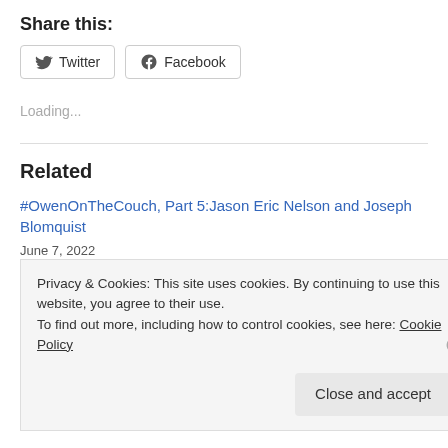Share this:
[Figure (other): Twitter and Facebook share buttons]
Loading...
Related
#OwenOnTheCouch, Part 5:Jason Eric Nelson and Joseph Blomquist
June 7, 2022
In "Business of Games"
Privacy & Cookies: This site uses cookies. By continuing to use this website, you agree to their use.
To find out more, including how to control cookies, see here: Cookie Policy